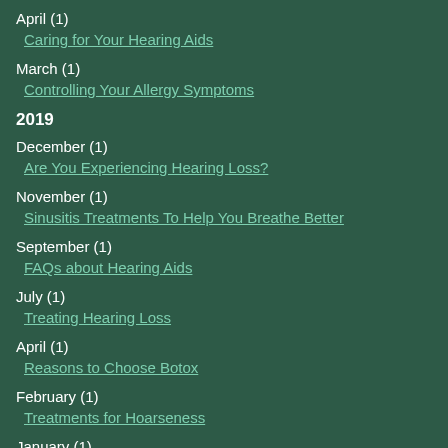April (1)
Caring for Your Hearing Aids
March (1)
Controlling Your Allergy Symptoms
2019
December (1)
Are You Experiencing Hearing Loss?
November (1)
Sinusitis Treatments To Help You Breathe Better
September (1)
FAQs about Hearing Aids
July (1)
Treating Hearing Loss
April (1)
Reasons to Choose Botox
February (1)
Treatments for Hoarseness
January (1)
Which Type of Hearing Aid Is Right for You?